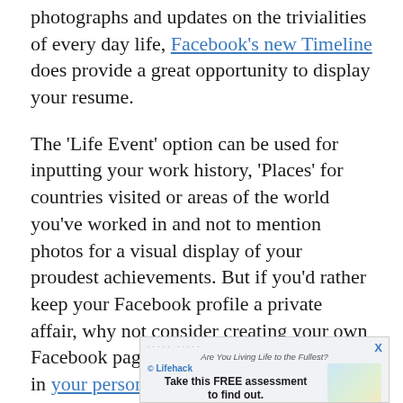photographs and updates on the trivialities of every day life, Facebook's new Timeline does provide a great opportunity to display your resume.
The 'Life Event' option can be used for inputting your work history, 'Places' for countries visited or areas of the world you've worked in and not to mention photos for a visual display of your proudest achievements. But if you'd rather keep your Facebook profile a private affair, why not consider creating your own Facebook page and making it another tool in your personal brand.
After all, what better platform to sell your skills than on one of the most popular websites in the world?
[Figure (screenshot): Advertisement banner from Lifehack: 'Are You Living Life to the Fullest? Take this FREE assessment to find out.']